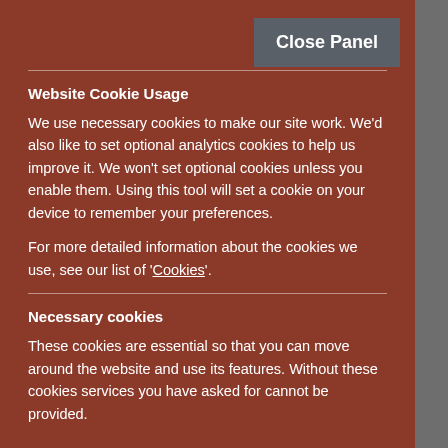Close Panel
Website Cookie Usage
We use necessary cookies to make our site work. We'd also like to set optional analytics cookies to help us improve it. We won't set optional cookies unless you enable them. Using this tool will set a cookie on your device to remember your preferences.
For more detailed information about the cookies we use, see our list of 'Cookies'.
Necessary cookies
These cookies are essential so that you can move around the website and use its features. Without these cookies services you have asked for cannot be provided.
See list of Necessary Cookies